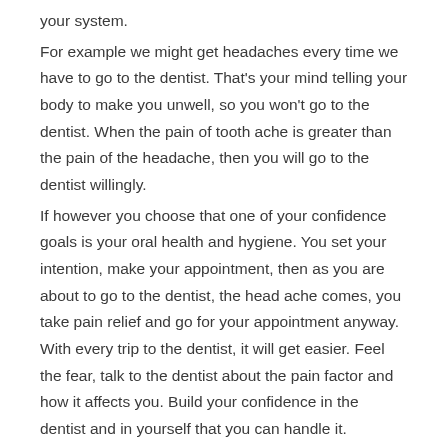your system.
For example we might get headaches every time we have to go to the dentist. That's your mind telling your body to make you unwell, so you won't go to the dentist. When the pain of tooth ache is greater than the pain of the headache, then you will go to the dentist willingly.
If however you choose that one of your confidence goals is your oral health and hygiene. You set your intention, make your appointment, then as you are about to go to the dentist, the head ache comes, you take pain relief and go for your appointment anyway. With every trip to the dentist, it will get easier. Feel the fear, talk to the dentist about the pain factor and how it affects you. Build your confidence in the dentist and in yourself that you can handle it.